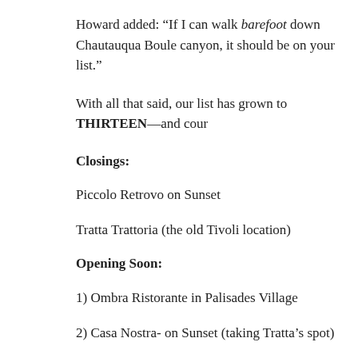Howard added: “If I can walk barefoot down Chautauqua Boule… canyon, it should be on your list.”
With all that said, our list has grown to THIRTEEN—and cour…
Closings:
Piccolo Retrovo on Sunset
Tratta Trattoria (the old Tivoli location)
Opening Soon:
1) Ombra Ristorante in Palisades Village
2) Casa Nostra- on Sunset (taking Tratta’s spot)
Existing Italian restaurants: